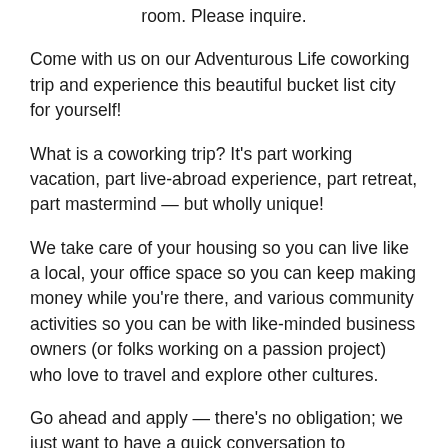room. Please inquire.
Come with us on our Adventurous Life coworking trip and experience this beautiful bucket list city for yourself!
What is a coworking trip? It's part working vacation, part live-abroad experience, part retreat, part mastermind — but wholly unique!
We take care of your housing so you can live like a local, your office space so you can keep making money while you're there, and various community activities so you can be with like-minded business owners (or folks working on a passion project) who love to travel and explore other cultures.
Go ahead and apply — there's no obligation; we just want to have a quick conversation to